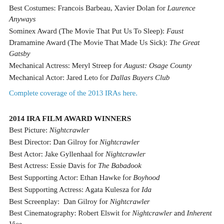Best Costumes: Francois Barbeau, Xavier Dolan for Laurence Anyways
Sominex Award (The Movie That Put Us To Sleep): Faust
Dramamine Award (The Movie That Made Us Sick): The Great Gatsby
Mechanical Actress: Meryl Streep for August: Osage County
Mechanical Actor: Jared Leto for Dallas Buyers Club
Complete coverage of the 2013 IRAs here.
2014 IRA FILM AWARD WINNERS
Best Picture: Nightcrawler
Best Director: Dan Gilroy for Nightcrawler
Best Actor: Jake Gyllenhaal for Nightcrawler
Best Actress: Essie Davis for The Babadook
Best Supporting Actor: Ethan Hawke for Boyhood
Best Supporting Actress: Agata Kulesza for Ida
Best Screenplay: Dan Gilroy for Nightcrawler
Best Cinematography: Robert Elswit for Nightcrawler and Inherent Vice
Best Production Design: Suzie Davies for Mr. Turner
Best Score: Mica Levi for Under The Skin
Best Editing: (tie) Simon Njoo for The Babadook; Jay Cassidy, Stuart Levy and Conor O'Neill for Foxcatcher